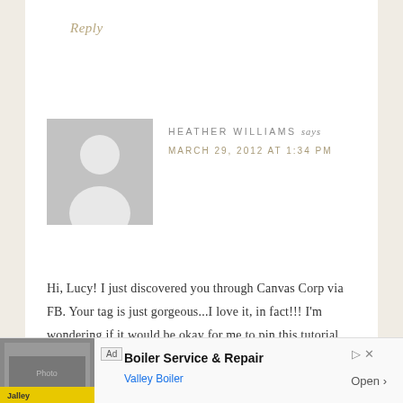Reply
[Figure (illustration): Gray placeholder avatar image with silhouette of a person (head and shoulders)]
HEATHER WILLIAMS says MARCH 29, 2012 AT 1:34 PM
Hi, Lucy! I just discovered you through Canvas Corp via FB. Your tag is just gorgeous...I love it, in fact!!! I'm wondering if it would be okay for me to pin this tutorial to my Wrap, Tag &